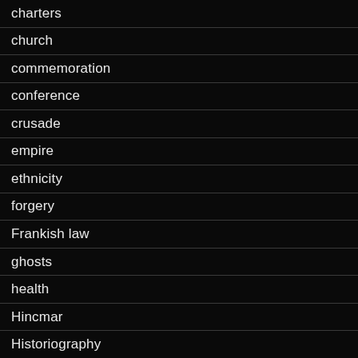charters
church
commemoration
conference
crusade
empire
ethnicity
forgery
Frankish law
ghosts
health
Hincmar
Historiography